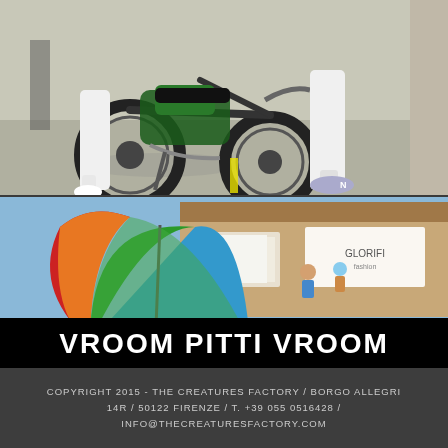[Figure (photo): Close-up photo of a motorcycle with knobbly tires parked on a concrete surface, with a person in white trousers and white/grey sneakers walking beside it.]
[Figure (photo): Outdoor photo showing a large colorful parachute/umbrella (green, blue, red, orange) in the foreground, with a building and a banner sign in the background under a blue sky.]
VROOM PITTI VROOM
COPYRIGHT 2015 - THE CREATURES FACTORY / BORGO ALLEGRI 14R / 50122 FIRENZE / T. +39 055 0516428 / INFO@THECREATURESFACTORY.COM